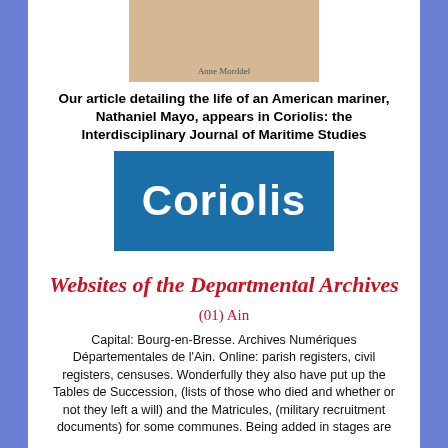[Figure (illustration): Book cover showing author name Anne Morddel at the bottom on a tan/beige background]
Our article detailing the life of an American mariner, Nathaniel Mayo, appears in Coriolis: the Interdisciplinary Journal of Maritime Studies
[Figure (logo): Coriolis logo — white bold text 'Coriolis' on a blue rectangle background]
Websites of the Departmental Archives
(01) Ain
Capital: Bourg-en-Bresse. Archives Numériques Départementales de l'Ain. Online: parish registers, civil registers, censuses. Wonderfully they also have put up the Tables de Succession, (lists of those who died and whether or not they left a will) and the Matricules, (military recruitment documents) for some communes. Being added in stages are